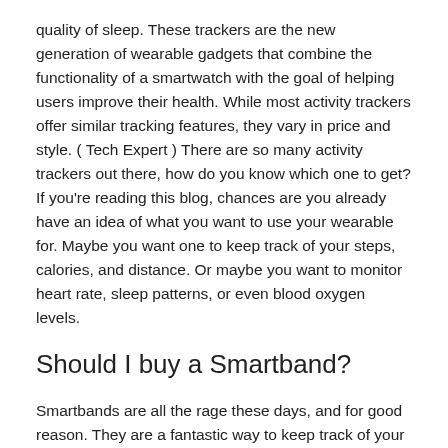quality of sleep. These trackers are the new generation of wearable gadgets that combine the functionality of a smartwatch with the goal of helping users improve their health. While most activity trackers offer similar tracking features, they vary in price and style. ( Tech Expert ) There are so many activity trackers out there, how do you know which one to get? If you're reading this blog, chances are you already have an idea of what you want to use your wearable for. Maybe you want one to keep track of your steps, calories, and distance. Or maybe you want to monitor heart rate, sleep patterns, or even blood oxygen levels.
Should I buy a Smartband?
Smartbands are all the rage these days, and for good reason. They are a fantastic way to keep track of your fitness goals and your daily activities. So, if you are looking to buy one, you have come to the right place. We've put together a list of the top smartbands on the market and how to pick